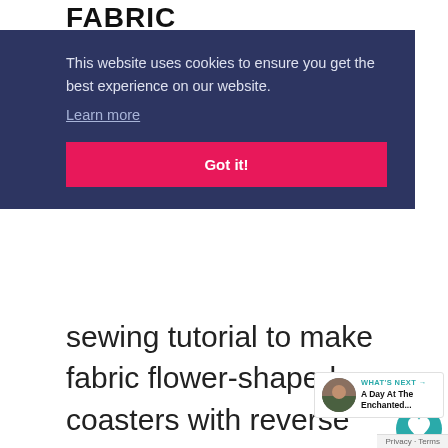FABRIC
This website uses cookies to ensure you get the best experience on our website. Learn more
Got it!
sewing tutorial to make fabric flower-shaped coasters with reverse applique by using two different fabric
[Figure (other): Heart/like button icon (teal circle with white heart), like count 84, and share button]
WHAT'S NEXT → A Day At The Enchanted...
Privacy · Terms